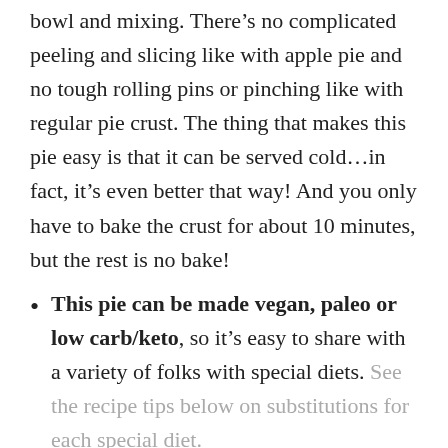bowl and mixing. There's no complicated peeling and slicing like with apple pie and no tough rolling pins or pinching like with regular pie crust. The thing that makes this pie easy is that it can be served cold…in fact, it's even better that way! And you only have to bake the crust for about 10 minutes, but the rest is no bake!
This pie can be made vegan, paleo or low carb/keto, so it's easy to share with a variety of folks with special diets. See the recipe tips below on substitutions for each special diet.